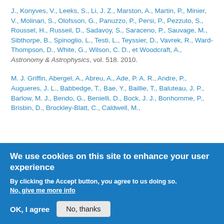J., Konyves, V., Leeks, S., Li, J. Z., Marston, A., Martin, P., Minier, V., Molinari, S., Olofsson, G., Panuzzo, P., Persi, P., Pezzuto, S., Roussel, H., Russeil, D., Sadavoy, S., Saraceno, P., Sauvage, M., Sibthorpe, B., Spinoglio, L., Testi, L., Teyssier, D., Vavrek, R., Ward-Thompson, D., White, G., Wilson, C. D., et Woodcraft, A., Astronomy & Astrophysics, vol. 518. 2010.
M. J. Griffin, Abergel, A., Abreu, A., Ade, P. A. R., Andre, P., Augueres, J. L., Babbedge, T., Bae, Y., Baillie, T., Baluteau, J. P., Barlow, M. J., Bendo, G., Benielli, D., Bock, J. J., Bonhomme, P., Brisbin, D., Brockley-Blatt, C., Caldwell, M.,
We use cookies on this site to enhance your user experience
By clicking the Accept button, you agree to us doing so.
No, give me more info
OK, I agree   No, thanks